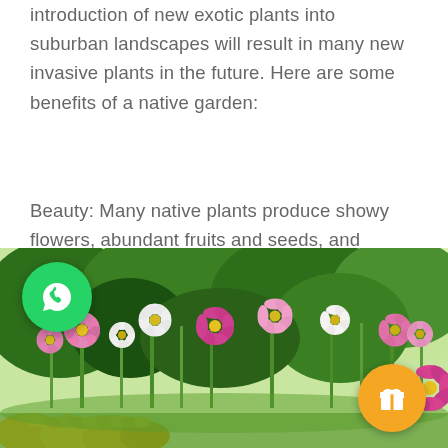introduction of new exotic plants into suburban landscapes will result in many new invasive plants in the future. Here are some benefits of a native garden:
Beauty: Many native plants produce showy flowers, abundant fruits and seeds, and brilliant foliage. By planting native plants, you will have a beautiful yard that is friendly to wildlife.
[Figure (photo): A colorful garden with pink, white, and yellow flowers (cosmos and marigolds) in bloom with bright sunlit green foliage in the background. A WhatsApp icon button overlay is visible on the upper left and an orange gift icon button on the lower right.]